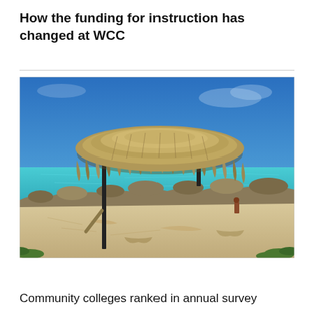How the funding for instruction has changed at WCC
[Figure (photo): A beach scene with a thatched-roof palapa/umbrella on a metal frame, white sandy beach, turquoise Caribbean-style water, rocky shoreline, and blue sky in the background.]
Community colleges ranked in annual survey